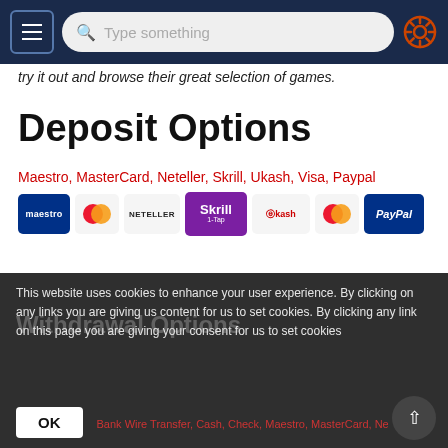Navigation bar with menu button, search field 'Type something', and settings gear icon
try it out and browse their great selection of games.
Deposit Options
Maestro, MasterCard, Neteller, Skrill, Ukash, Visa, Paypal
[Figure (infographic): Payment method icons: Maestro, MasterCard, Neteller, Skrill 1-tap, Ukash, MasterCard, PayPal]
Withdrawal Options
Bank Wire Transfer, Cash, Check, Maestro, MasterCard, Neteller, Skrill
This website uses cookies to enhance your user experience. By clicking on any links you are giving us content for us to set cookies. By clicking any link on this page you are giving your consent for us to set cookies
OK